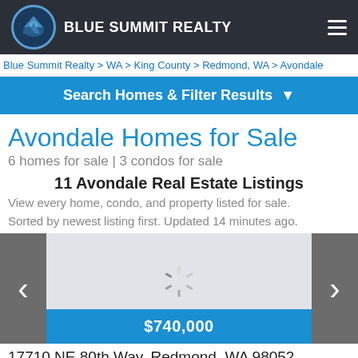BLUE SUMMIT REALTY
Blue Summit Realty > WA > King County > Redmond, WA > Avondale
Search Homes & Filter Results
Avondale Homes for Sale
6 homes for sale | 3 condos for sale
11 Avondale Real Estate Listings
View every home, condo, and property listed for sale. Sorted by newest listing first. Updated 14 minutes ago.
[Figure (screenshot): Carousel image with loading spinner and $740,000 price bar]
17710 NE 80th Way, Redmond, WA 98052